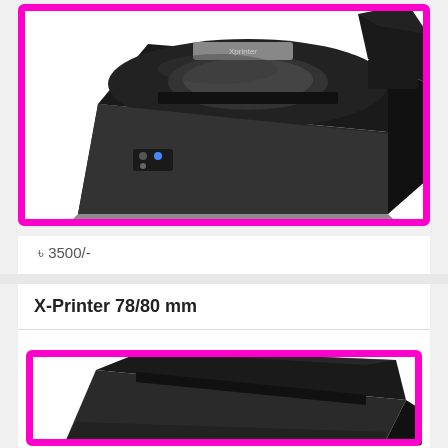[Figure (photo): Black thermal receipt printer (X-Printer) shown from a 3/4 angle, with magenta/pink border frame]
৳ 3500/-
X-Printer 78/80 mm
[Figure (photo): Black thermal receipt printer (larger 78/80mm model) shown from above at an angle, with magenta/pink border frame, partially visible]